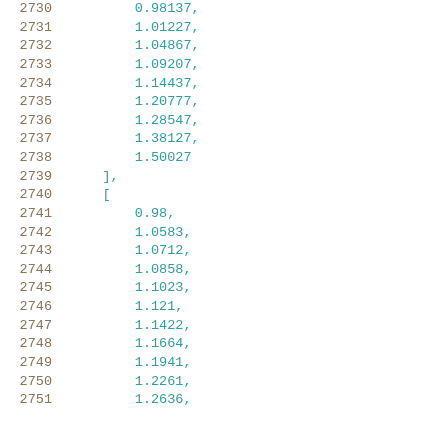Code listing lines 2730-2751 showing array data with numeric values: 0.98137, 1.01227, 1.04867, 1.09207, 1.14437, 1.20777, 1.28547, 1.38127, 1.50027 ], [ 0.98, 1.0583, 1.0712, 1.0858, 1.1023, 1.121, 1.1422, 1.1664, 1.1941, 1.2261, 1.2636,